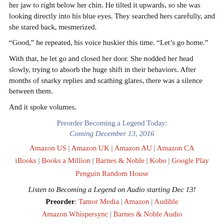her jaw to right below her chin. He tilted it upwards, so she was looking directly into his blue eyes. They searched hers carefully, and she stared back, mesmerized.
“Good,” he repeated, his voice huskier this time. “Let’s go home.”
With that, he let go and closed her door. She nodded her head slowly, trying to absorb the huge shift in their behaviors. After months of snarky replies and scathing glares, there was a silence between them.
And it spoke volumes.
Preorder Becoming a Legend Today:
Coming December 13, 2016
Amazon US | Amazon UK | Amazon AU | Amazon CA iBooks | Books a Million | Barnes & Noble | Kobo | Google Play Penguin Random House
Listen to Becoming a Legend on Audio starting Dec 13! Preorder: Tantor Media | Amazon | Audible Amazon Whispersync | Barnes & Noble Audio